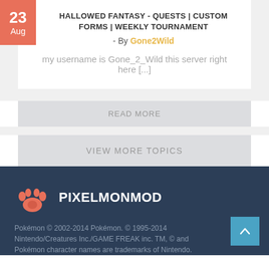HALLOWED FANTASY - QUESTS | CUSTOM FORMS | WEEKLY TOURNAMENT
- By Gone2Wild
my username is Gone_2_Wild this server right here [...]
READ MORE
VIEW MORE TOPICS
PIXELMONMOD
Pokémon © 2002-2014 Pokémon. © 1995-2014 Nintendo/Creatures Inc./GAME FREAK inc. TM, © and Pokémon character names are trademarks of Nintendo.